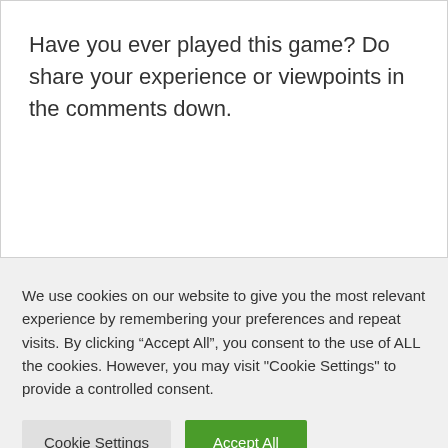Have you ever played this game? Do share your experience or viewpoints in the comments down.
We use cookies on our website to give you the most relevant experience by remembering your preferences and repeat visits. By clicking “Accept All”, you consent to the use of ALL the cookies. However, you may visit "Cookie Settings" to provide a controlled consent.